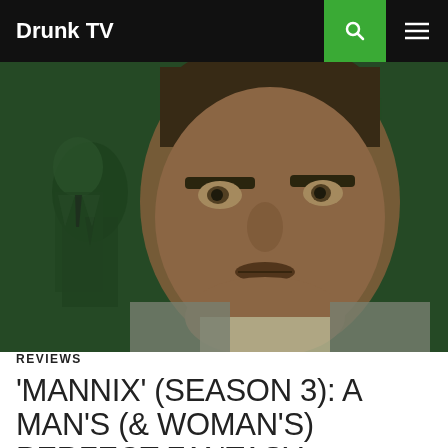Drunk TV
[Figure (photo): Close-up promotional image of a man looking intently, with a green-tinted background featuring a shadowy figure in a suit. This appears to be promotional art for the TV show Mannix.]
REVIEWS
'MANNIX' (SEASON 3): A MAN'S (& WOMAN'S) PERFECT FANTASY